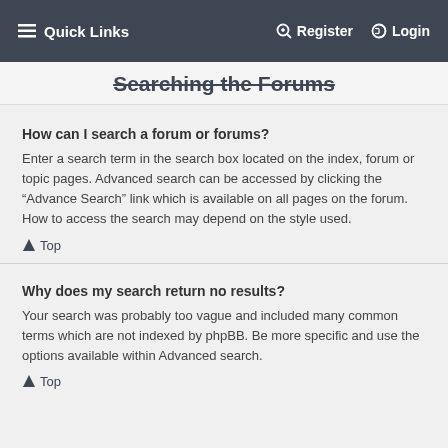Quick Links   Register   Login
Searching the Forums
How can I search a forum or forums?
Enter a search term in the search box located on the index, forum or topic pages. Advanced search can be accessed by clicking the “Advance Search” link which is available on all pages on the forum. How to access the search may depend on the style used.
↑ Top
Why does my search return no results?
Your search was probably too vague and included many common terms which are not indexed by phpBB. Be more specific and use the options available within Advanced search.
↑ Top